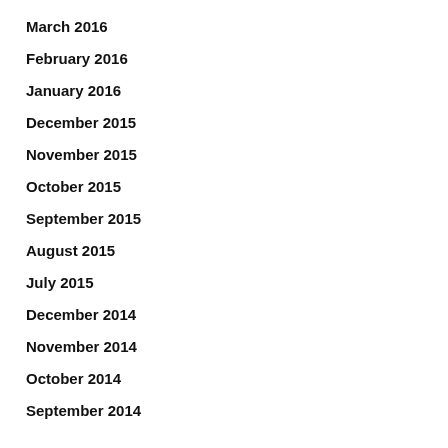March 2016
February 2016
January 2016
December 2015
November 2015
October 2015
September 2015
August 2015
July 2015
December 2014
November 2014
October 2014
September 2014